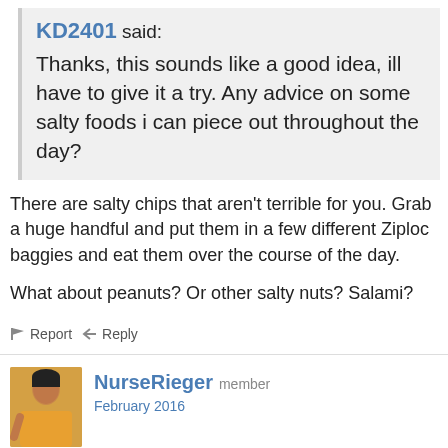KD2401 said: Thanks, this sounds like a good idea, ill have to give it a try. Any advice on some salty foods i can piece out throughout the day?
There are salty chips that aren't terrible for you. Grab a huge handful and put them in a few different Ziploc baggies and eat them over the course of the day.
What about peanuts? Or other salty nuts? Salami?
Report   Reply
NurseRieger member February 2016
Bigboobsmcgee said: show previous quotes